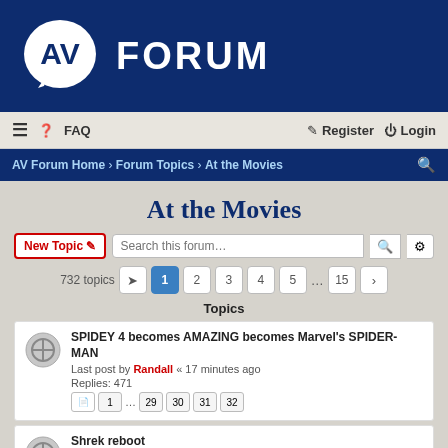AV FORUM
≡  ❓ FAQ    Register  Login
AV Forum Home › Forum Topics › At the Movies
At the Movies
New Topic  Search this forum...  732 topics  1 2 3 4 5 ... 15 >
Topics
SPIDEY 4 becomes AMAZING becomes Marvel's SPIDER-MAN
Last post by Randall « 17 minutes ago
Replies: 471
Pages: 1 ... 29 30 31 32
Shrek reboot
Last post by Daniel « Today, 1:34 pm
Replies: 59